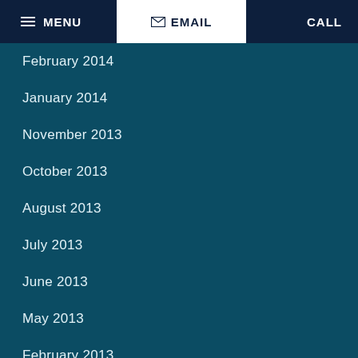MENU  EMAIL  CALL
February 2014
January 2014
November 2013
October 2013
August 2013
July 2013
June 2013
May 2013
February 2013
January 2013